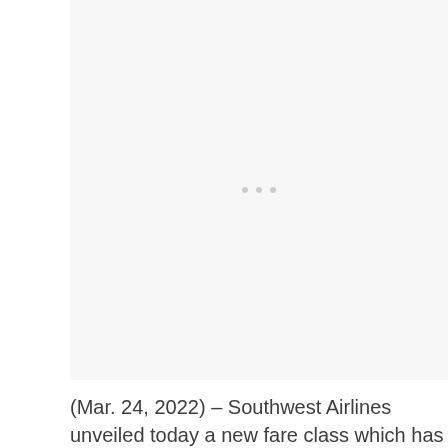[Figure (photo): Large image placeholder area with light gray background, containing three small gray dots centered in the middle of the image area]
(Mar. 24, 2022) – Southwest Airlines unveiled today a new fare class which has